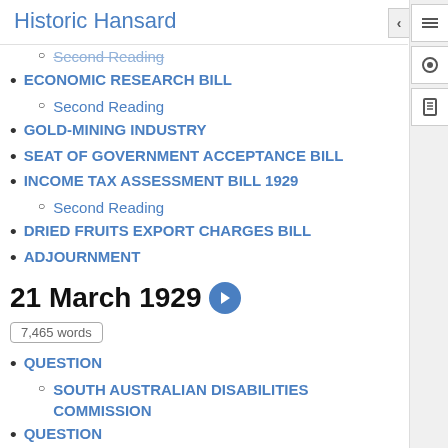Historic Hansard
Second Reading
ECONOMIC RESEARCH BILL
Second Reading
GOLD-MINING INDUSTRY
SEAT OF GOVERNMENT ACCEPTANCE BILL
INCOME TAX ASSESSMENT BILL 1929
Second Reading
DRIED FRUITS EXPORT CHARGES BILL
ADJOURNMENT
21 March 1929
7,465 words
QUESTION
SOUTH AUSTRALIAN DISABILITIES COMMISSION
QUESTION